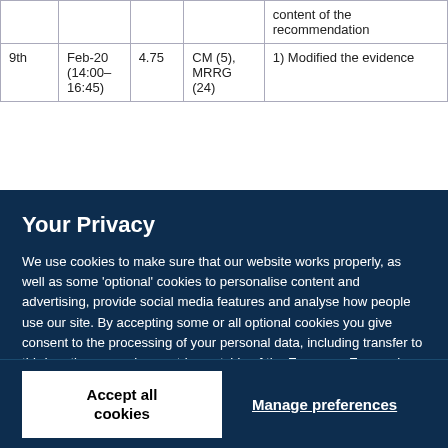|  |  |  |  |  |
| --- | --- | --- | --- | --- |
|  |  |  |  | content of the recommendation |
| 9th | Feb-20
(14:00–16:45) | 4.75 | CM (5),
MRRG (24) | 1) Modified the evidence |
Your Privacy
We use cookies to make sure that our website works properly, as well as some 'optional' cookies to personalise content and advertising, provide social media features and analyse how people use our site. By accepting some or all optional cookies you give consent to the processing of your personal data, including transfer to third parties, some in countries outside of the European Economic Area that do not offer the same data protection standards as the country where you live. You can decide which optional cookies to accept by clicking on 'Manage Settings', where you can also find more information about how your personal data is processed. Further information can be found in our privacy policy.
Accept all cookies
Manage preferences